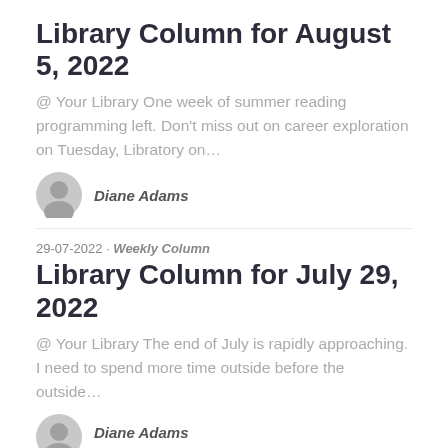Library Column for August 5, 2022
@ Your Library One week of summer reading programming left. Don't miss out on career exploration on Tuesday, Libratory on…
Diane Adams
29-07-2022 · Weekly Column
Library Column for July 29, 2022
@ Your Library The end of July is rapidly approaching. I need to spend more time outside before the outside…
Diane Adams